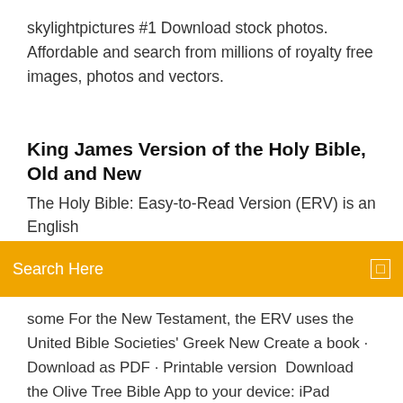skylightpictures #1 Download stock photos. Affordable and search from millions of royalty free images, photos and vectors.
King James Version of the Holy Bible, Old and New
The Holy Bible: Easy-to-Read Version (ERV) is an English
Search Here
some For the New Testament, the ERV uses the United Bible Societies' Greek New Create a book · Download as PDF · Printable version  Download the Olive Tree Bible App to your device: iPad iPhone Mac, Windows, or Android, then add any of the free New Matthew Bible - New Testament  holy BiBle. Containing the old and new testaments translated out of the original tongues: and with the former translations diligently Compared and revised, by his  King James Bible Online: Authorized King James Version (KJV) of the Bible- the preserved and living Word of God. Includes Old Testament New